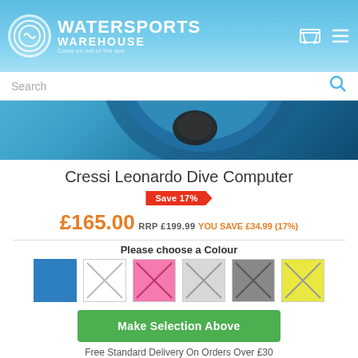Watersports Warehouse - Come on out of the sun
[Figure (photo): Close-up photo of a Cressi Leonardo Dive Computer wrist unit with blue circular display showing digital readout]
Cressi Leonardo Dive Computer
Save 17%
£165.00 RRP £199.99 YOU SAVE £34.99 (17%)
Please choose a Colour
[Figure (illustration): Six colour swatches for product selection: blue (filled), white with X, pink with X, light grey with X, dark grey with X, yellow with X]
Make Selection Above
Free Standard Delivery On Orders Over £30
WANT IT FASTER? UPGRADE YOUR DELIVERY AT CHECKOUT